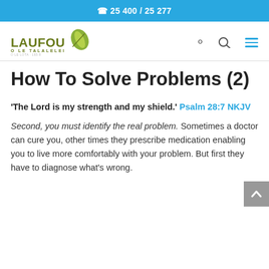25400 / 25277
[Figure (logo): Laufou O Le Talalelei logo with green leaf graphic]
How To Solve Problems (2)
'The Lord is my strength and my shield.' Psalm 28:7 NKJV
Second, you must identify the real problem. Sometimes a doctor can cure you, other times they prescribe medication enabling you to live more comfortably with your problem. But first they have to diagnose what's wrong.